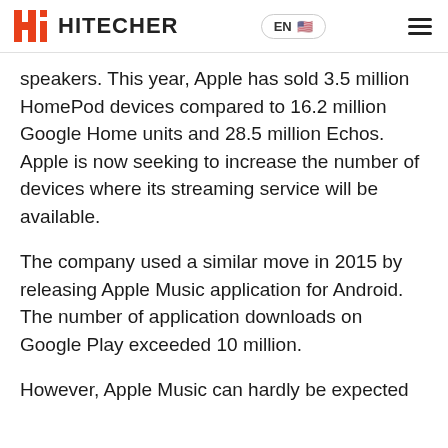HITECHER | EN
speakers. This year, Apple has sold 3.5 million HomePod devices compared to 16.2 million Google Home units and 28.5 million Echos. Apple is now seeking to increase the number of devices where its streaming service will be available.
The company used a similar move in 2015 by releasing Apple Music application for Android. The number of application downloads on Google Play exceeded 10 million.
However, Apple Music can hardly be expected